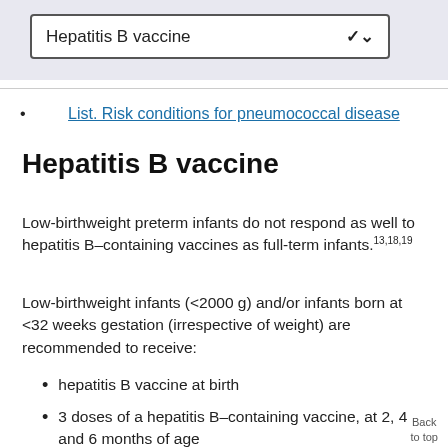[Figure (screenshot): Dropdown selector widget showing 'Hepatitis B vaccine' with a blue chevron arrow on the right, on a light purple/grey background]
List. Risk conditions for pneumococcal disease
Hepatitis B vaccine
Low-birthweight preterm infants do not respond as well to hepatitis B–containing vaccines as full-term infants.13,18,19
Low-birthweight infants (<2000 g) and/or infants born at <32 weeks gestation (irrespective of weight) are recommended to receive:
hepatitis B vaccine at birth
3 doses of a hepatitis B–containing vaccine, at 2, 4 and 6 months of age
Back to top